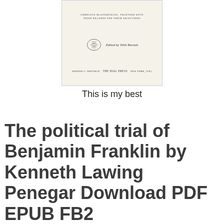[Figure (illustration): Scanned title page of a book showing text 'COMPLETE MASTERPIECES, TOGETHER WITH THEIR REASONS FOR THEIR SELECTIONS', an ornamental vignette, 'Edited by Whit Burnett', and 'THE DIAL PRESS New York [yr]']
This is my best
The political trial of Benjamin Franklin by Kenneth Lawing Penegar Download PDF EPUB FB2